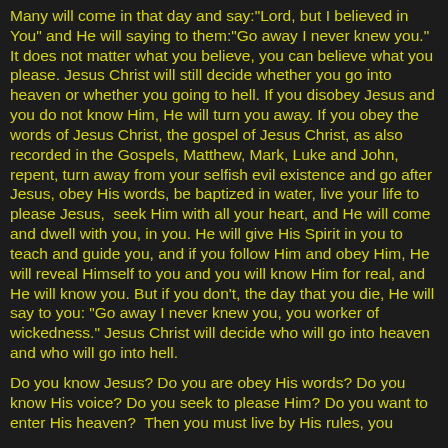Many will come in that day and say:"Lord, but I believed in You" and He will saying to them:"Go away I never knew you." It does not matter what you believe, you can believe what you please. Jesus Christ will still decide whether you go into heaven or whether you going to hell. If you disobey Jesus and you do not know Him, He will turn you away. If you obey the words of Jesus Christ, the gospel of Jesus Christ, as also recorded in the Gospels, Matthew, Mark, Luke and John, repent, turn away from your selfish evil existence and go after Jesus, obey His words, be baptized in water, live your life to please Jesus,  seek Him with all your heart, and He will come and dwell with you, in you. He will give His Spirit in you to teach and guide you, and if you follow Him and obey Him, He will reveal Himself to you and you will know Him for real, and He will know you. But if you don't, the day that you die, He will say to you: "Go away I never knew you, you worker of wickedness." Jesus Christ will decide who will go into heaven and who will go into hell.
Do you know Jesus? Do you are obey His words? Do you know His voice? Do you seek to please Him? Do you want to enter His heaven?  Then you must live by His rules, you